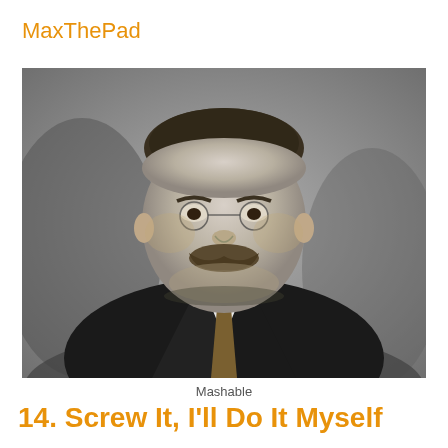MaxThePad
[Figure (photo): Black and white portrait photograph of Theodore Roosevelt wearing a suit and pince-nez glasses, with a prominent mustache, looking slightly to the right.]
Mashable
14. Screw It, I'll Do It Myself